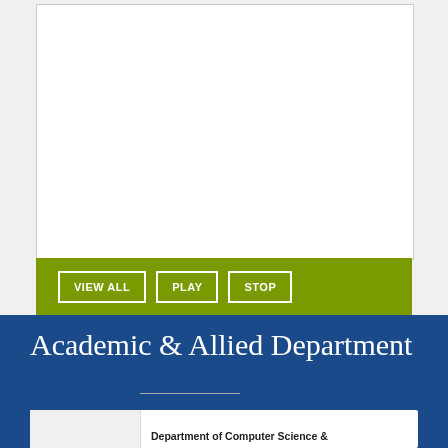[Figure (screenshot): White slideshow/image viewer box with light gray background and border]
VIEW ALL   PLAY   STOP
Academic & Allied Department
Department of Computer Science &